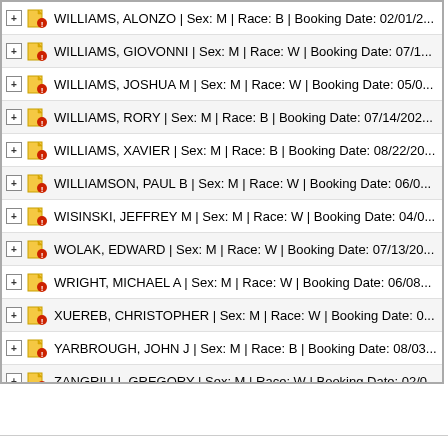WILLIAMS, ALONZO | Sex: M | Race: B | Booking Date: 02/01/2...
WILLIAMS, GIOVONNI | Sex: M | Race: W | Booking Date: 07/1...
WILLIAMS, JOSHUA M | Sex: M | Race: W | Booking Date: 05/0...
WILLIAMS, RORY | Sex: M | Race: B | Booking Date: 07/14/202...
WILLIAMS, XAVIER | Sex: M | Race: B | Booking Date: 08/22/20...
WILLIAMSON, PAUL B | Sex: M | Race: W | Booking Date: 06/0...
WISINSKI, JEFFREY M | Sex: M | Race: W | Booking Date: 04/0...
WOLAK, EDWARD | Sex: M | Race: W | Booking Date: 07/13/20...
WRIGHT, MICHAEL A | Sex: M | Race: W | Booking Date: 06/08...
XUEREB, CHRISTOPHER | Sex: M | Race: W | Booking Date: 0...
YARBROUGH, JOHN J | Sex: M | Race: B | Booking Date: 08/03...
ZANGRILLI, GREGORY | Sex: M | Race: W | Booking Date: 02/0...
ZEHR, ROY J | Sex: M | Race: W | Booking Date: 06/03/2022 O...